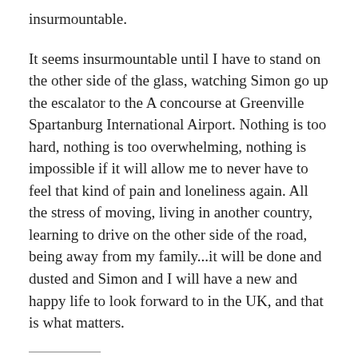insurmountable.
It seems insurmountable until I have to stand on the other side of the glass, watching Simon go up the escalator to the A concourse at Greenville Spartanburg International Airport. Nothing is too hard, nothing is too overwhelming, nothing is impossible if it will allow me to never have to feel that kind of pain and loneliness again. All the stress of moving, living in another country, learning to drive on the other side of the road, being away from my family...it will be done and dusted and Simon and I will have a new and happy life to look forward to in the UK, and that is what matters.
SHARE THIS: